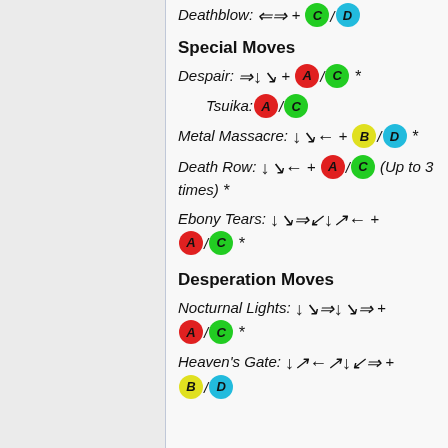Deathblow: ⇐⇒ + C / D
Special Moves
Despair: ⇒↓↘ + A/C *
Tsuika: A / C
Metal Massacre: ↓↘← + B / D *
Death Row: ↓↘← + A/C (Up to 3 times) *
Ebony Tears: ↓↘⇒↙↓↗← + A/C *
Desperation Moves
Nocturnal Lights: ↓↘⇒↓↘⇒ + A/C *
Heaven's Gate: ↓↗←↗↓↙⇒ + B / D